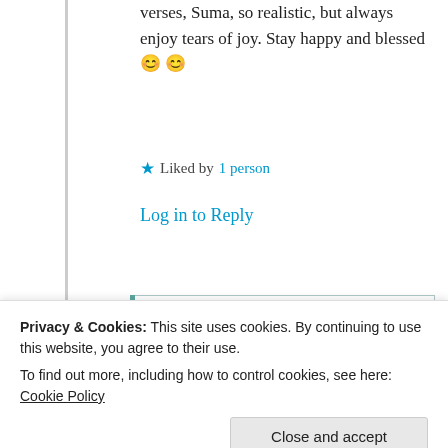verses, Suma, so realistic, but always enjoy tears of joy. Stay happy and blessed 😊 😊
★ Liked by 1 person
Log in to Reply
Suma Reddy
26th Jun 2021 at 7:25 pm
Privacy & Cookies: This site uses cookies. By continuing to use this website, you agree to their use. To find out more, including how to control cookies, see here: Cookie Policy
Close and accept
the motivation Always. 😊 ❤️ 🙏